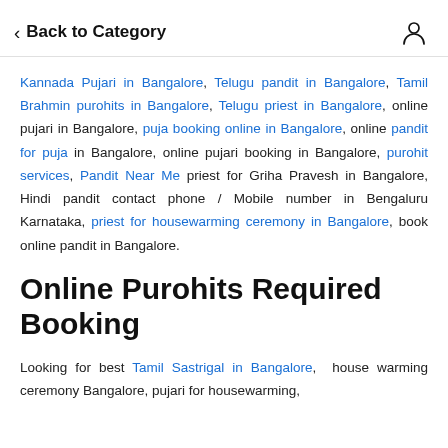Back to Category
Kannada Pujari in Bangalore, Telugu pandit in Bangalore, Tamil Brahmin purohits in Bangalore, Telugu priest in Bangalore, online pujari in Bangalore, puja booking online in Bangalore, online pandit for puja in Bangalore, online pujari booking in Bangalore, purohit services, Pandit Near Me priest for Griha Pravesh in Bangalore, Hindi pandit contact phone / Mobile number in Bengaluru Karnataka, priest for housewarming ceremony in Bangalore, book online pandit in Bangalore.
Online Purohits Required Booking
Looking for best Tamil Sastrigal in Bangalore, house warming ceremony Bangalore, pujari for housewarming,